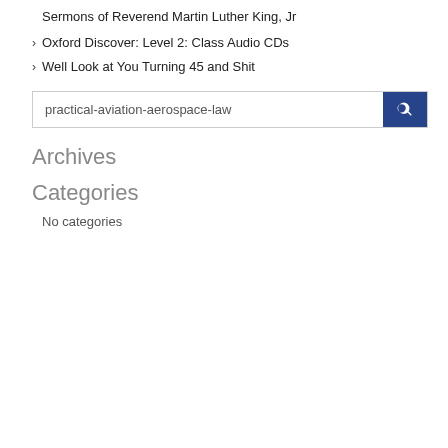Sermons of Reverend Martin Luther King, Jr
Oxford Discover: Level 2: Class Audio CDs
Well Look at You Turning 45 and Shit
practical-aviation-aerospace-law
Archives
Categories
No categories